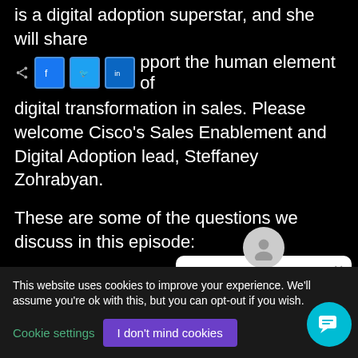is a digital adoption superstar, and she will share how to support the human element of digital transformation in sales. Please welcome Cisco's Sales Enablement and Digital Adoption lead, Steffaney Zohrabyan.
These are some of the questions we discuss in this episode:
What is Digital Adoption and how does the function fit into sales enablement?
[Figure (screenshot): Chat popup widget saying 'Hi, thanks for stopping by. Please let me know if I can help.' with a user avatar icon and close button]
This website uses cookies to improve your experience. We'll assume you're ok with this, but you can opt-out if you wish.
Cookie settings   I don't mind cookies